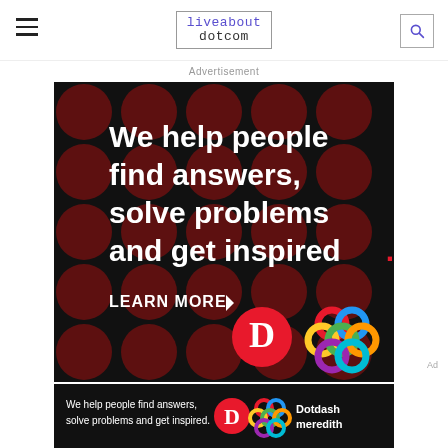liveabout dotcom
Advertisement
[Figure (illustration): Dotdash Meredith advertisement on black background with dark red circle pattern. Large white bold text reads 'We help people find answers, solve problems and get inspired.' with a red period. Below: 'LEARN MORE' with arrow. Dotdash logo (red circle with D) and Meredith logo (colorful interlocked rings).]
[Figure (illustration): Smaller version of Dotdash Meredith banner ad on black background. White text: 'We help people find answers, solve problems and get inspired.' Dotdash logo and colorful Meredith logo with 'Dotdash meredith' text in white.]